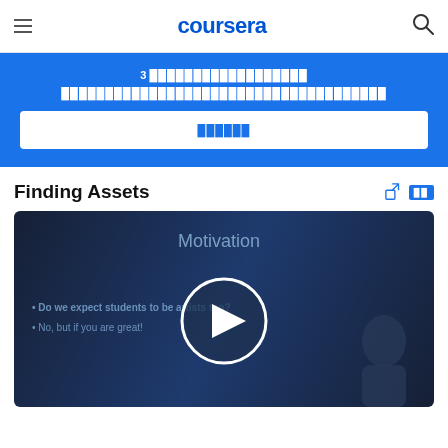coursera
3 [blocked text] [blocked text]
[blocked button text]
Finding Assets
[Figure (screenshot): Video lecture thumbnail showing 'Motivation' slide with bullet points 'Do we expect students to be artists too?' and 'No, but if you are great!' with a play button overlay and a person silhouette on the right]